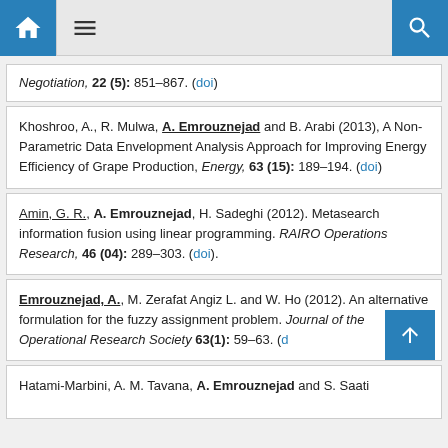Navigation header with home, menu, and search icons
Negotiation, 22 (5): 851–867. (doi)
Khoshroo, A., R. Mulwa, A. Emrouznejad and B. Arabi (2013), A Non-Parametric Data Envelopment Analysis Approach for Improving Energy Efficiency of Grape Production, Energy, 63 (15): 189–194. (doi)
Amin, G. R., A. Emrouznejad, H. Sadeghi (2012). Metasearch information fusion using linear programming. RAIRO Operations Research, 46 (04): 289–303. (doi).
Emrouznejad, A., M. Zerafat Angiz L. and W. Ho (2012). An alternative formulation for the fuzzy assignment problem. Journal of the Operational Research Society 63(1): 59–63. (d
Hatami-Marbini, A. M. Tavana, A. Emrouznejad and S. Saati